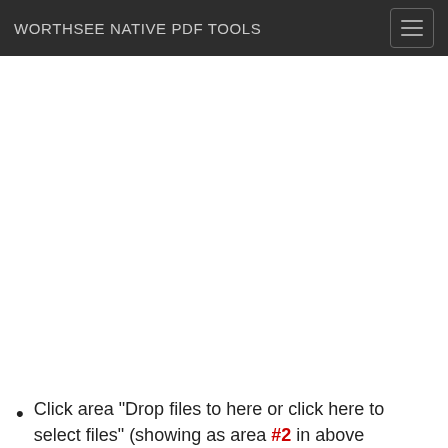WORTHSEE NATIVE PDF TOOLS
Click area "Drop files to here or click here to select files" (showing as area #2 in above